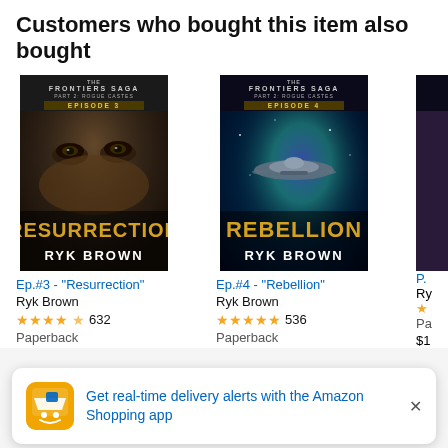Customers who bought this item also bought
[Figure (photo): Book cover for Ep.#3 - Resurrection by Ryk Brown, Frontiers Saga Part 2: Rogue Castes Episode 3, showing a close-up of a face and the word RESURRECTION]
Ep.#3 - "Resurrection"
Ryk Brown
★★★★½ 632
Paperback
[Figure (photo): Book cover for Ep.#4 - Rebellion by Ryk Brown, Frontiers Saga Part 2: Rogue Castes Episode 4, showing a spaceship and the word REBELLION]
Ep.#4 - "Rebellion"
Ryk Brown
★★★★★ 536
Paperback
P.
Ry
Pa
$1
Get real-time delivery alerts with the Amazon Shopping app